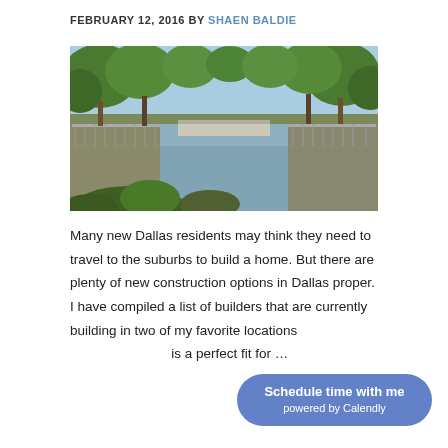FEBRUARY 12, 2016 BY SHAEN BALDIE
[Figure (photo): Outdoor urban canal walkway lined with green trees on both sides, with a bridge in the background and reflective water in the foreground, sunny summer day.]
Many new Dallas residents may think they need to travel to the suburbs to build a home. But there are plenty of new construction options in Dallas proper. I have compiled a list of builders that are currently building in two of my favorite locations in Dallas that are the best is a perfect fit for ...